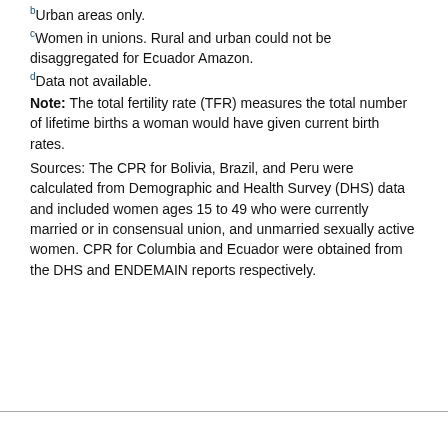b Urban areas only.
c Women in unions. Rural and urban could not be disaggregated for Ecuador Amazon.
d Data not available.
Note: The total fertility rate (TFR) measures the total number of lifetime births a woman would have given current birth rates.
Sources: The CPR for Bolivia, Brazil, and Peru were calculated from Demographic and Health Survey (DHS) data and included women ages 15 to 49 who were currently married or in consensual union, and unmarried sexually active women. CPR for Columbia and Ecuador were obtained from the DHS and ENDEMAIN reports respectively.